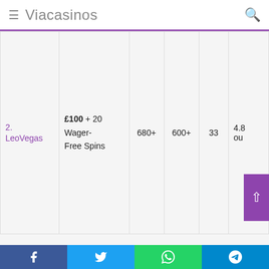Viacasinos
| Casino | Bonus | Games | Live | Score | Extra |
| --- | --- | --- | --- | --- | --- |
| 2. LeoVegas | £100 + 20 Wager-Free Spins | 680+ | 600+ | 33 | 4.8 ou |